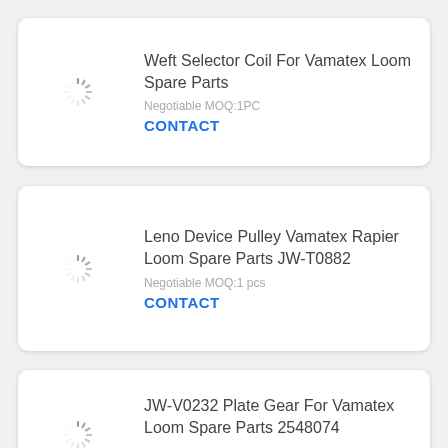[Figure (screenshot): Product listing card 1: Weft Selector Coil For Vamatex Loom Spare Parts]
Weft Selector Coil For Vamatex Loom Spare Parts
Negotiable MOQ:1PC
CONTACT
[Figure (screenshot): Product listing card 2: Leno Device Pulley Vamatex Rapier Loom Spare Parts JW-T0882]
Leno Device Pulley Vamatex Rapier Loom Spare Parts JW-T0882
Negotiable MOQ:1 pcs
CONTACT
[Figure (screenshot): Product listing card 3: JW-V0232 Plate Gear For Vamatex Loom Spare Parts 2548074]
JW-V0232 Plate Gear For Vamatex Loom Spare Parts 2548074